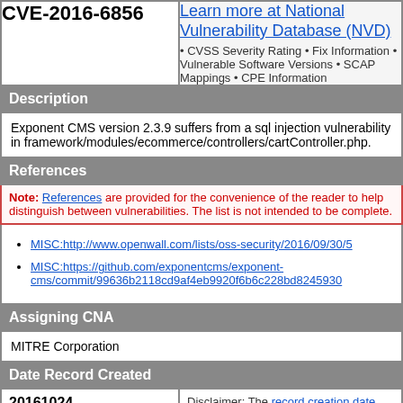CVE-2016-6856
Learn more at National Vulnerability Database (NVD) • CVSS Severity Rating • Fix Information • Vulnerable Software Versions • SCAP Mappings • CPE Information
Description
Exponent CMS version 2.3.9 suffers from a sql injection vulnerability in framework/modules/ecommerce/controllers/cartController.php.
References
Note: References are provided for the convenience of the reader to help distinguish between vulnerabilities. The list is not intended to be complete.
MISC:http://www.openwall.com/lists/oss-security/2016/09/30/5
MISC:https://github.com/exponentcms/exponent-cms/commit/99636b2118cd9af4eb9920f6b6c228bd824593c
Assigning CNA
MITRE Corporation
Date Record Created
20161024
Disclaimer: The record creation date may reflect when the CVE ID was allocated.